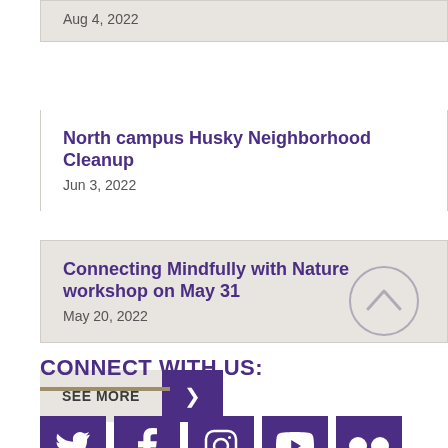Aug 4, 2022
North campus Husky Neighborhood Cleanup
Jun 3, 2022
Connecting Mindfully with Nature workshop on May 31
May 20, 2022
SEE MORE
CONNECT WITH US:
[Figure (illustration): Social media icons: Twitter, Facebook, Instagram, YouTube, Flickr — all in purple square icons]